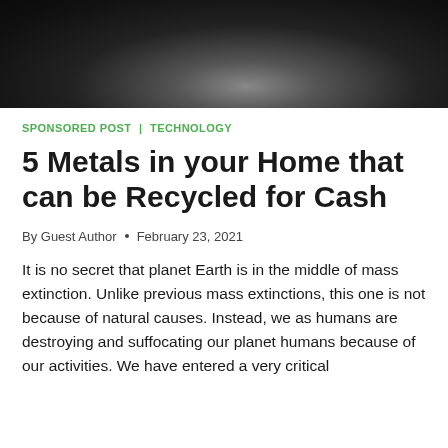[Figure (photo): Dark black and white photo, likely a close-up of a spiral or metallic/natural texture, top of article]
SPONSORED POST | TECHNOLOGY
5 Metals in your Home that can be Recycled for Cash
By Guest Author • February 23, 2021
It is no secret that planet Earth is in the middle of mass extinction. Unlike previous mass extinctions, this one is not because of natural causes. Instead, we as humans are destroying and suffocating our planet humans because of our activities. We have entered a very critical